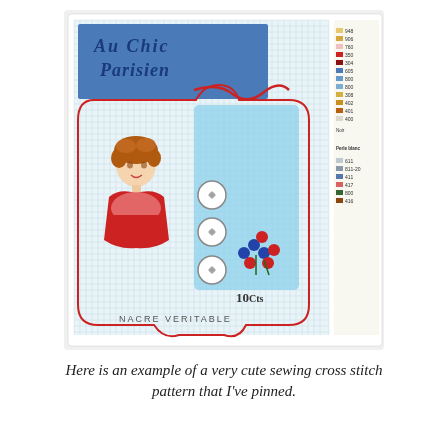[Figure (illustration): A cross stitch pattern chart for 'Au Chic Parisien' showing a vintage French sewing card design. The pattern features a woman in a red dress with auburn curly hair, three circular buttons, red and blue flowers, text reading '10 Cts' and 'NACRE VERITABLE', set on a blue and white grid background. A color legend is shown on the right side of the chart.]
Here is an example of a very cute sewing cross stitch pattern that I've pinned.